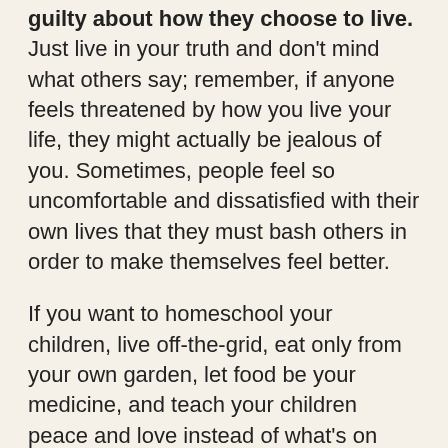guilty about how they choose to live. Just live in your truth and don't mind what others say; remember, if anyone feels threatened by how you live your life, they might actually be jealous of you. Sometimes, people feel so uncomfortable and dissatisfied with their own lives that they must bash others in order to make themselves feel better.
If you want to homeschool your children, live off-the-grid, eat only from your own garden, let food be your medicine, and teach your children peace and love instead of what's on television, don't apologize. Everyone deserves to live the life they want without feeling remorseful for simply following their hearts.
12. YOUR OPINIONS.
You can still respect someone without agreeing with them. You can remain civil and respectful without agreeing, also. If you have an opinion, don't hesitate to express it, even if it